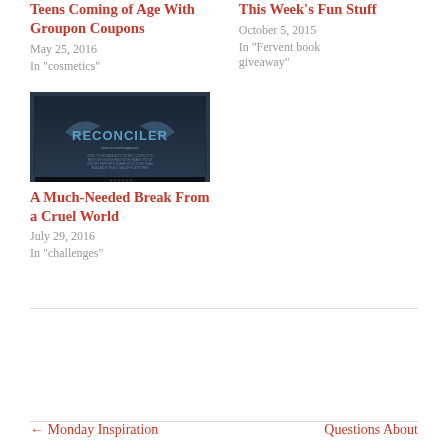Teens Coming of Age With Groupon Coupons
May 25, 2016
In "cosmetics"
This Week's Fun Stuff
October 5, 2015
In "Fervent book giveaway"
[Figure (photo): A photo of a laptop or monitor screen displaying the Reconciler application logo with text below it]
A Much-Needed Break From a Cruel World
July 29, 2016
In "challenges"
← Monday Inspiration     Questions About